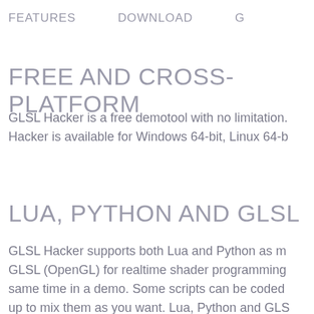FEATURES    DOWNLOAD    G
FREE AND CROSS-PLATFORM
GLSL Hacker is a free demotool with no limitation. Hacker is available for Windows 64-bit, Linux 64-b
LUA, PYTHON AND GLSL
GLSL Hacker supports both Lua and Python as m GLSL (OpenGL) for realtime shader programming same time in a demo. Some scripts can be coded up to mix them as you want. Lua, Python and GLS